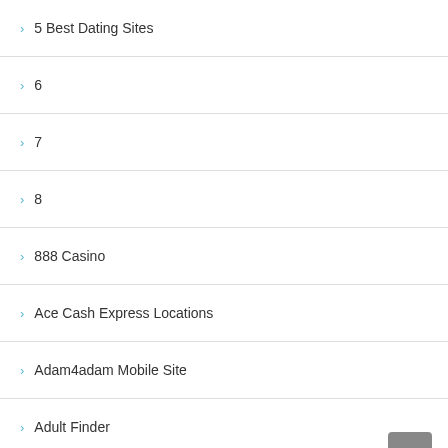5 Best Dating Sites
6
7
8
888 Casino
Ace Cash Express Locations
Adam4adam Mobile Site
Adult Finder
Adult Friend Finder Browse
Adult Friend Finder Login